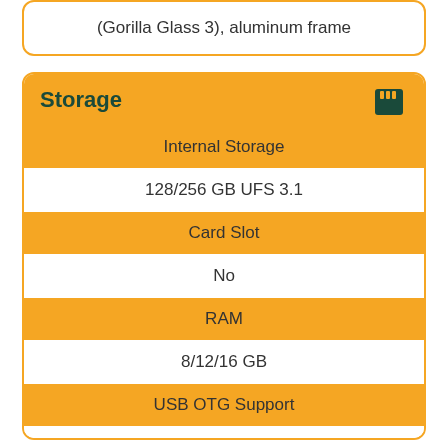(Gorilla Glass 3), aluminum frame
| Storage |
| --- |
| Internal Storage |
| 128/256 GB UFS 3.1 |
| Card Slot |
| No |
| RAM |
| 8/12/16 GB |
| USB OTG Support |
| Yes |